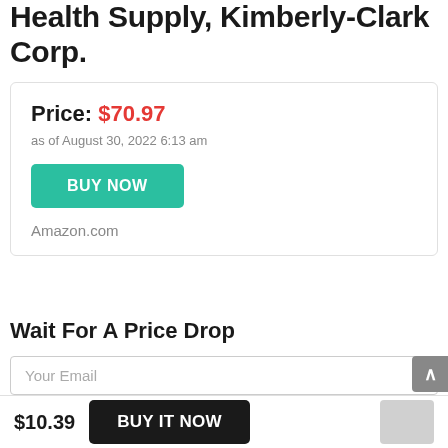Health Supply, Kimberly-Clark Corp.
Price: $70.97
as of August 30, 2022 6:13 am
BUY NOW
Amazon.com
Wait For A Price Drop
Your Email
$ Desired Price  SET ALERT
You will receive a notification when the price drops
$10.39  BUY IT NOW